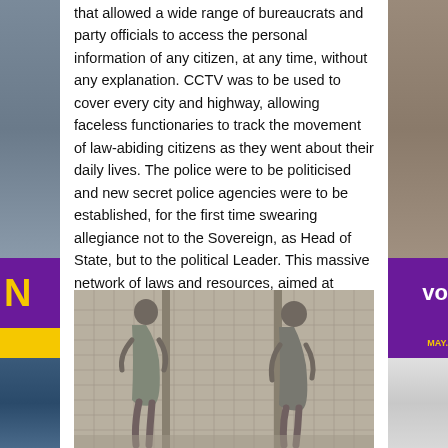that allowed a wide range of bureaucrats and party officials to access the personal information of any citizen, at any time, without any explanation. CCTV was to be used to cover every city and highway, allowing faceless functionaries to track the movement of law-abiding citizens as they went about their daily lives. The police were to be politicised and new secret police agencies were to be established, for the first time swearing allegiance not to the Sovereign, as Head of State, but to the political Leader. This massive network of laws and resources, aimed at controlling a subject race, were not only fundamentally un-British, but moved the citizen's time honoured rights and transferred them to the State and to the Fuehrer.
[Figure (photo): Black and white historical photograph showing two emaciated figures standing near a wire fence, appearing to be concentration camp prisoners.]